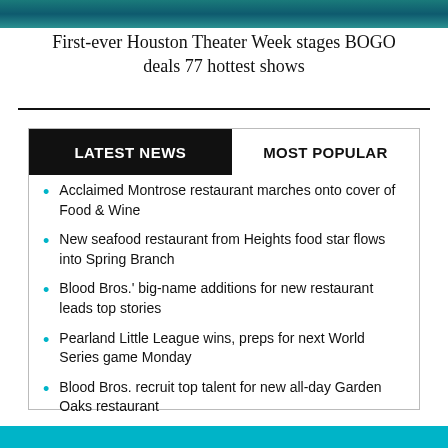[Figure (photo): Decorative banner image at top of page with teal/dark teal theater scene]
First-ever Houston Theater Week stages BOGO deals 77 hottest shows
LATEST NEWS   MOST POPULAR
Acclaimed Montrose restaurant marches onto cover of Food & Wine
New seafood restaurant from Heights food star flows into Spring Branch
Blood Bros.' big-name additions for new restaurant leads top stories
Pearland Little League wins, preps for next World Series game Monday
Blood Bros. recruit top talent for new all-day Garden Oaks restaurant